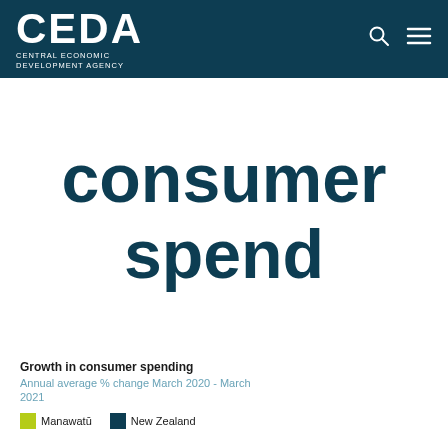CEDA — Central Economic Development Agency
consumer spend
Growth in consumer spending
Annual average % change March 2020 - March 2021
Legend: Manawatū | New Zealand